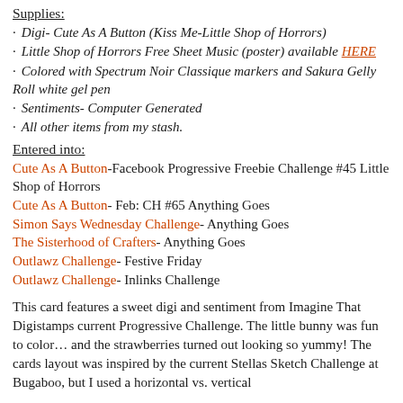Supplies:
Digi- Cute As A Button (Kiss Me-Little Shop of Horrors)
Little Shop of Horrors Free Sheet Music (poster) available HERE
Colored with Spectrum Noir Classique markers and Sakura Gelly Roll white gel pen
Sentiments- Computer Generated
All other items from my stash.
Entered into:
Cute As A Button-Facebook Progressive Freebie Challenge #45 Little Shop of Horrors
Cute As A Button- Feb: CH #65 Anything Goes
Simon Says Wednesday Challenge- Anything Goes
The Sisterhood of Crafters- Anything Goes
Outlawz Challenge- Festive Friday
Outlawz Challenge- Inlinks Challenge
This card features a sweet digi and sentiment from Imagine That Digistamps current Progressive Challenge. The little bunny was fun to color… and the strawberries turned out looking so yummy! The cards layout was inspired by the current Stellas Sketch Challenge at Bugaboo, but I used a horizontal vs. vertical